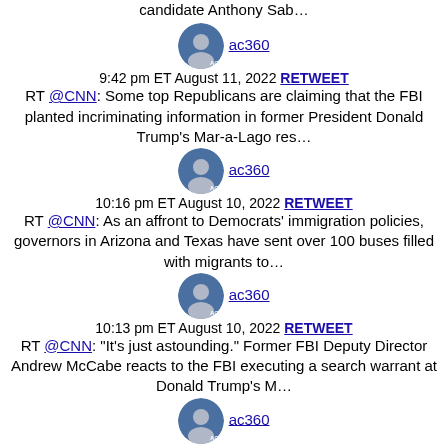candidate Anthony Sab…
ac360
9:42 pm ET August 11, 2022 RETWEET
RT @CNN: Some top Republicans are claiming that the FBI planted incriminating information in former President Donald Trump's Mar-a-Lago res…
ac360
10:16 pm ET August 10, 2022 RETWEET
RT @CNN: As an affront to Democrats' immigration policies, governors in Arizona and Texas have sent over 100 buses filled with migrants to…
ac360
10:13 pm ET August 10, 2022 RETWEET
RT @CNN: "It's just astounding." Former FBI Deputy Director Andrew McCabe reacts to the FBI executing a search warrant at Donald Trump's M…
ac360
9:28 pm ET August 8, 2022 RETWEET
RT @CNN: Republican candidates who support former President Donald Trump's claims that the last presidential election was stolen